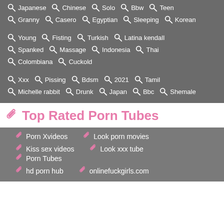Japanese  Chinese  Solo  Bbw  Teen
Granny  Casero  Egyptian  Sleeping  Korean
Young  Fisting  Turkish  Latina kendall
Spanked  Massage  Indonesia  Thai
Colombiana  Cuckold
Xxx  Pissing  Bdsm  2021  Tamil
Michelle rabbit  Drunk  Japan  Bbc  Shemale
Top Rated Porn Tubes
Porn Xvideos  Look porn movies
Kiss sex videos  Look xxx tube  Porn Tubes
hd porn hub  onlinefuckgirls.com